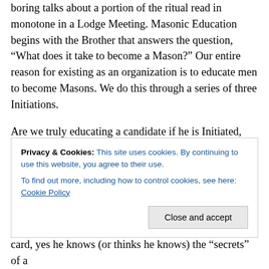boring talks about a portion of the ritual read in monotone in a Lodge Meeting. Masonic Education begins with the Brother that answers the question, “What does it take to become a Mason?” Our entire reason for existing as an organization is to educate men to become Masons. We do this through a series of three Initiations.
Are we truly educating a candidate if he is Initiated, Passed two weeks later and Raised to “The Sublime Degree of Master Mason” two weeks after that? Just how sublime do you think his experience is with this compressed timeline of such momentous events? He can
Privacy & Cookies: This site uses cookies. By continuing to use this website, you agree to their use.
To find out more, including how to control cookies, see here: Cookie Policy
card, yes he knows (or thinks he knows) the “secrets” of a